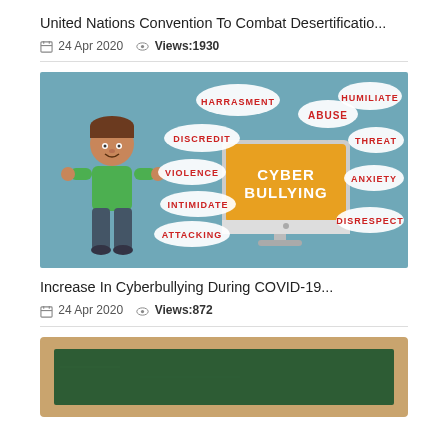United Nations Convention To Combat Desertificatio...
24 Apr 2020   Views:1930
[Figure (illustration): Cyber bullying infographic: cartoon child standing next to a computer monitor displaying 'CYBER BULLYING' on orange screen, surrounded by speech bubbles with words: HARASSMENT, DISCREDIT, VIOLENCE, INTIMIDATE, ATTACKING, ABUSE, HUMILIATE, THREAT, ANXIETY, DISRESPECT. Teal/blue-grey background.]
Increase In Cyberbullying During COVID-19...
24 Apr 2020   Views:872
[Figure (photo): Partial view of a green chalkboard with wooden frame border, bottom portion of the image.]